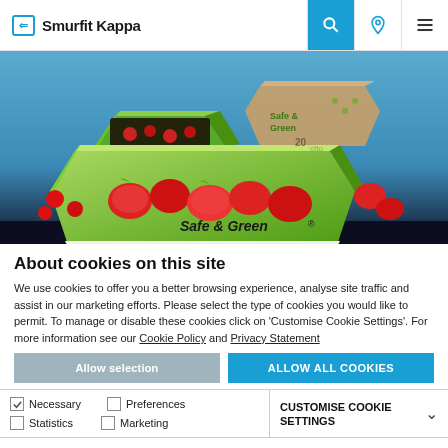Smurfit Kappa
[Figure (photo): Product photo showing green 'Safe & Green' branded packaging trays filled with strawberries and raspberries on a blue-to-dark gradient background]
About cookies on this site
We use cookies to offer you a better browsing experience, analyse site traffic and assist in our marketing efforts. Please select the type of cookies you would like to permit. To manage or disable these cookies click on 'Customise Cookie Settings'. For more information see our Cookie Policy and Privacy Statement
Allow selection | ALLOW ALL COOKIES
| ✓ Necessary | ☐ Preferences | CUSTOMISE COOKIE SETTINGS ∨ |
| ☐ Statistics | ☐ Marketing |  |